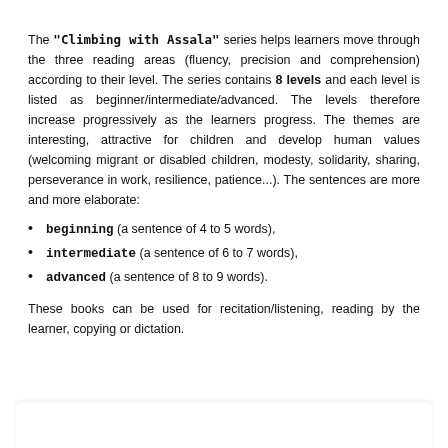The "Climbing with Assala" series helps learners move through the three reading areas (fluency, precision and comprehension) according to their level. The series contains 8 levels and each level is listed as beginner/intermediate/advanced. The levels therefore increase progressively as the learners progress. The themes are interesting, attractive for children and develop human values (welcoming migrant or disabled children, modesty, solidarity, sharing, perseverance in work, resilience, patience...). The sentences are more and more elaborate:
beginning (a sentence of 4 to 5 words),
intermediate (a sentence of 6 to 7 words),
advanced (a sentence of 8 to 9 words).
These books can be used for recitation/listening, reading by the learner, copying or dictation.